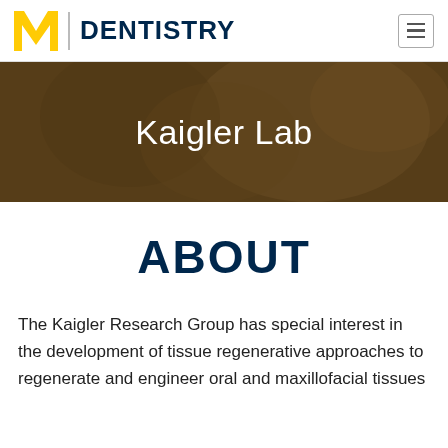[Figure (logo): University of Michigan block M logo in maize/yellow, followed by vertical divider and DENTISTRY wordmark in navy blue. Hamburger menu icon in top right.]
[Figure (photo): Hero banner photo showing blurred people in a lab/classroom setting with dark golden overlay. White centered text reads 'Kaigler Lab'.]
Kaigler Lab
ABOUT
The Kaigler Research Group has special interest in the development of tissue regenerative approaches to regenerate and engineer oral and maxillofacial tissues